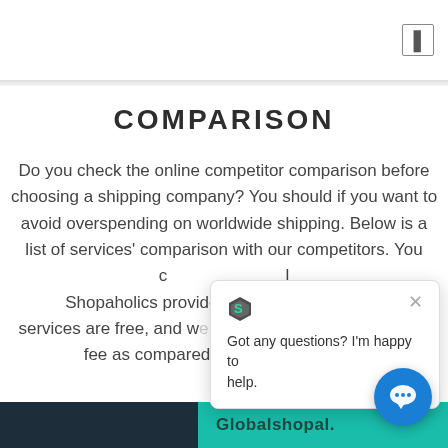COMPARISON
Do you check the online competitor comparison before choosing a shipping company? You should if you want to avoid overspending on worldwide shipping. Below is a list of services' comparison with our competitors. You c... l Shopaholics provide forwarding service... services are free, and we charge a minimal processing fee as compared to other companies.
[Figure (screenshot): Chat popup widget with logo and message: Got any questions? I'm happy to help. With close button X.]
Globalshopal...